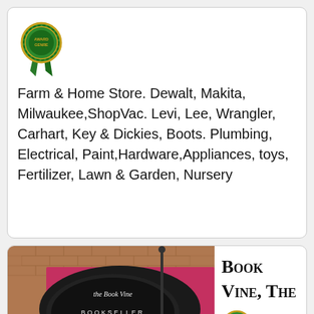[Figure (logo): Green ribbon/rosette award badge with gold border]
Farm & Home Store. Dewalt, Makita, Milwaukee,ShopVac. Levi, Lee, Wrangler, Carhart, Key & Dickies, Boots. Plumbing, Electrical, Paint,Hardware,Appliances, toys, Fertilizer, Lawn & Garden, Nursery
[Figure (photo): Photo of The Book Vine bookstore exterior with hanging sign reading 'the Book Vine BOOKSELLER Est 2007', adjacent to Underground Clothing store]
Book Vine, The
[Figure (logo): Small green ribbon/rosette award badge (partial)]